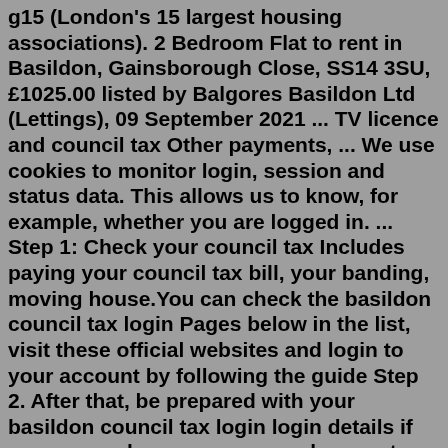g15 (London's 15 largest housing associations). 2 Bedroom Flat to rent in Basildon, Gainsborough Close, SS14 3SU, £1025.00 listed by Balgores Basildon Ltd (Lettings), 09 September 2021 ... TV licence and council tax Other payments, ... We use cookies to monitor login, session and status data. This allows us to know, for example, whether you are logged in. ... Step 1: Check your council tax Includes paying your council tax bill, your banding, moving house.You can check the basildon council tax login Pages below in the list, visit these official websites and login to your account by following the guide Step 2. After that, be prepared with your basildon council tax login login details if you an regular user, you can also create them by registering your...Feb 25, 2022 · The freeze means the rate of council tax in Basildon will remain at £278.91 for Band D properties this year, the Local Democracy Reporting Service said. Council house rent will rise by 3.1% ... Top tasks. Pay your Council Tax online now. Login to your online Council Tax account. How to use your online Council Tax account.